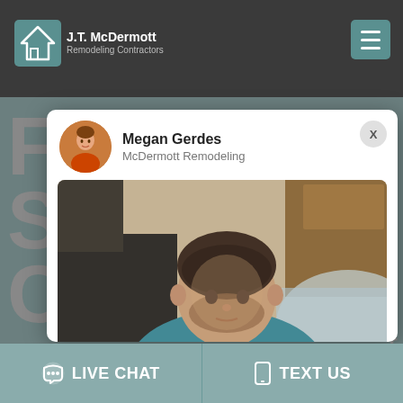[Figure (screenshot): J.T. McDermott Remodeling Contractors website header with logo and hamburger menu]
[Figure (screenshot): Chat popup widget showing agent Megan Gerdes from McDermott Remodeling, with a blurred photo of a man (Josh) and caption text]
Megan Gerdes
McDermott Remodeling
[Figure (photo): Blurred photo of a man (Josh) in a teal shirt, used as video thumbnail for virtual consultation message]
A personal message from Josh about our virtual consultation process.
[Figure (screenshot): Bottom navigation bar with LIVE CHAT and TEXT US buttons on teal background]